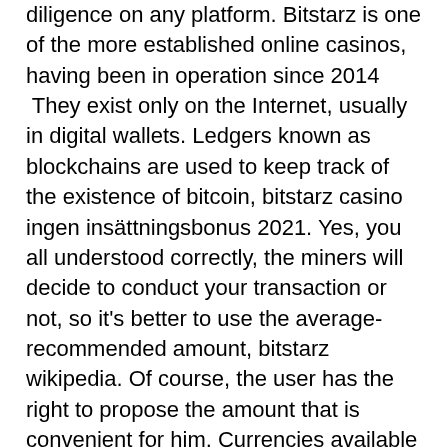diligence on any platform. Bitstarz is one of the more established online casinos, having been in operation since 2014
 They exist only on the Internet, usually in digital wallets. Ledgers known as blockchains are used to keep track of the existence of bitcoin, bitstarz casino ingen insättningsbonus 2021. Yes, you all understood correctly, the miners will decide to conduct your transaction or not, so it's better to use the average-recommended amount, bitstarz wikipedia. Of course, the user has the right to propose the amount that is convenient for him. Currencies available for deposit, bitstarz wikipedia. BTC, ETH, LTC, BCH, DOGE, XRP, TRX, EOS. But, aside from this, there are a number of ways to make money from bitcoin, bitstarz ingen innskuddsbonus 20 darmowe spiny. If you want to profit from this digital currency, here are the different things you can do to grow your wealth through Bitcoin. Remaining